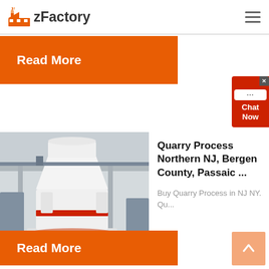zFactory
Read More
Quarry Process Northern NJ, Bergen County, Passaic ...
Buy Quarry Process in NJ NY. Qu...
[Figure (photo): Industrial milling machine, white cylindrical grinder in factory setting]
Read More